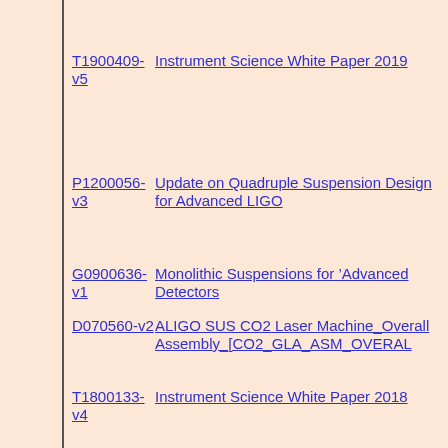T1900409-v5 | Instrument Science White Paper 2019
P1200056-v3 | Update on Quadruple Suspension Design for Advanced LIGO
G0900636-v1 | Monolithic Suspensions for ’Advanced Detectors
D070560-v2 | ALIGO SUS CO2 Laser Machine_Overall Assembly_[CO2_GLA_ASM_OVERAL
T1800133-v4 | Instrument Science White Paper 2018
G1800845-v1 | Cryogenic suspensions for future gravitational wave detectors
G1601163-v1 | Characterisation of the aLIGO monolithic suspensions